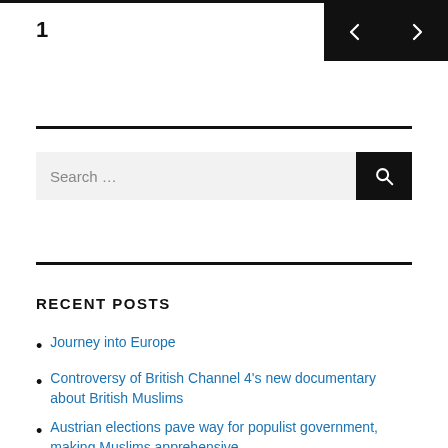1
[Figure (other): Navigation buttons with left arrow and right arrow on black background]
[Figure (other): Search bar with search icon button]
RECENT POSTS
Journey into Europe
Controversy of British Channel 4’s new documentary about British Muslims
Austrian elections pave way for populist government, making Muslims apprehensive